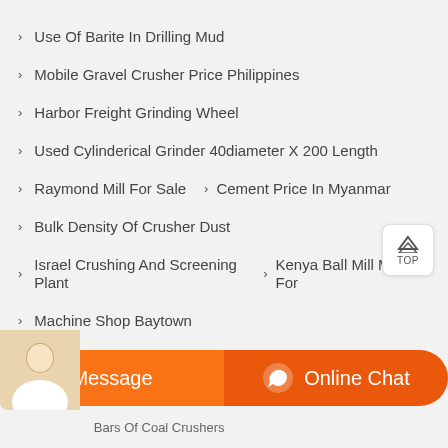Use Of Barite In Drilling Mud
Mobile Gravel Crusher Price Philippines
Harbor Freight Grinding Wheel
Used Cylinderical Grinder 40diameter X 200 Length
Raymond Mill For Sale   › Cement Price In Myanmar
Bulk Density Of Crusher Dust
Israel Crushing And Screening Plant   › Kenya Ball Mill Makers For
Machine Shop Baytown
Limegold Ore Mill Limegold Ore Mill For Ball
›act Bars Of Coal Crushers
Message   Online Chat